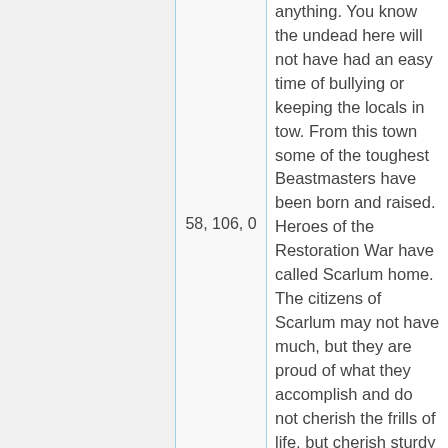58, 106, 0
anything. You know the undead here will not have had an easy time of bullying or keeping the locals in tow. From this town some of the toughest Beastmasters have been born and raised. Heroes of the Restoration War have called Scarlum home. The citizens of Scarlum may not have much, but they are proud of what they accomplish and do not cherish the frills of life, but cherish sturdy hearts and bodies. Citizens of Scarlum will be a welcome addition to your ranks.